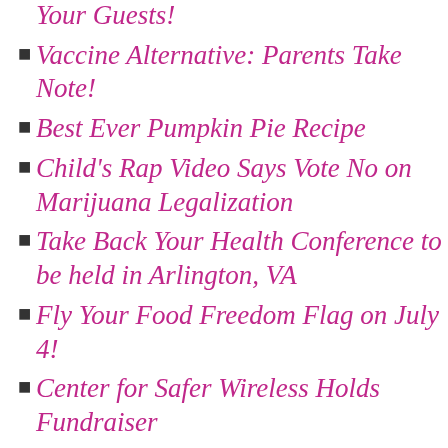Healthy Super Bowl Snacks to Wow Your Guests!
Vaccine Alternative: Parents Take Note!
Best Ever Pumpkin Pie Recipe
Child's Rap Video Says Vote No on Marijuana Legalization
Take Back Your Health Conference to be held in Arlington, VA
Fly Your Food Freedom Flag on July 4!
Center for Safer Wireless Holds Fundraiser
The Battle of Yorktown-Over Oysters
The Ultimate Foodies Tour of Slovenia
US Heathful Food Council Awards Real Food Innovators
Grow Your Health Event Teaches Backyard Gardening
Prison Soy Diet Podcast
Polish Farmers Rise to Defend Traditional